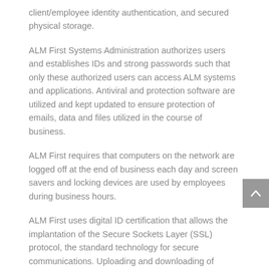client/employee identity authentication, and secured physical storage.
ALM First Systems Administration authorizes users and establishes IDs and strong passwords such that only these authorized users can access ALM systems and applications. Antiviral and protection software are utilized and kept updated to ensure protection of emails, data and files utilized in the course of business.
ALM First requires that computers on the network are logged off at the end of business each day and screen savers and locking devices are used by employees during business hours.
ALM First uses digital ID certification that allows the implantation of the Secure Sockets Layer (SSL) protocol, the standard technology for secure communications. Uploading and downloading of information is only allowed in this SSL level protected environment.